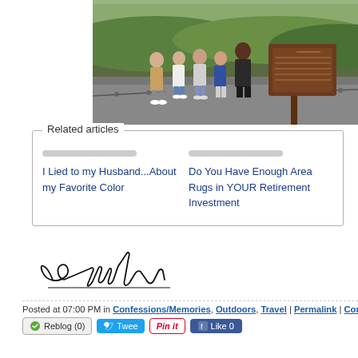[Figure (photo): Group of five people standing together outdoors on a paved area near a brown informational sign, with green hills and trees in the background.]
Related articles
I Lied to my Husband...About my Favorite Color
Do You Have Enough Area Rugs in YOUR Retirement Investment
[Figure (illustration): Handwritten cursive signature reading 'Amphitrite']
Posted at 07:00 PM in Confessions/Memories, Outdoors, Travel | Permalink | Comments (0)
Reblog (0)   Tweet   Pin it   Like 0